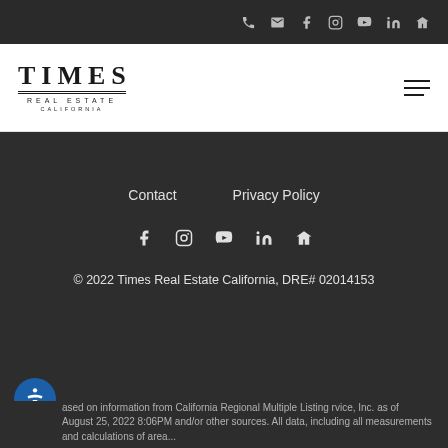Times Real Estate California — top navigation bar with phone, email, Facebook, Instagram, YouTube, LinkedIn, Zillow icons
[Figure (logo): Times Real Estate California logo — 'TIMES' in large serif bold letters, double rule lines, 'REAL ESTATE' and 'CALIFORNIA' below in small caps]
Contact   Privacy Policy
Social icons: Facebook, Instagram, YouTube, LinkedIn, Zillow
© 2022 Times Real Estate California, DRE# 02014153
ased on information from California Regional Multiple Listing rvice, Inc. as of August 25, 2022 8:06PM and/or other sources. All data, including all measurements and calculations of area...